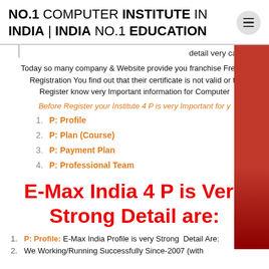NO.1 COMPUTER INSTITUTE IN INDIA | INDIA NO.1 EDUCATION
detail very carefully:
Today so many company & Website provide you franchise Free of Registration You find out that their certificate is not valid or th Register know very Important information for Computer
Before Register your Institute 4 P is very Important for y
P: Profile
P: Plan (Course)
P: Payment Plan
P: Professional Team
E-Max India 4 P is Very Strong Detail are:
P: Profile: E-Max India Profile is very Strong Detail Are:
We Working/Running Successfully Since-2007 (with